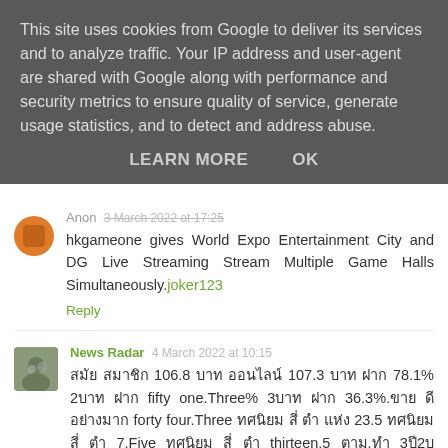This site uses cookies from Google to deliver its services and to analyze traffic. Your IP address and user-agent are shared with Google along with performance and security metrics to ensure quality of service, generate usage statistics, and to detect and address abuse.
LEARN MORE   OK
Anon  3 March 2022 at 17:25
hkgameone gives World Expo Entertainment City and DG Live Streaming Stream Multiple Game Halls Simultaneously. joker123
Reply
News Radar  4 March 2022 at 10:15
สมัย สมาชิก 106.8 บาท ออนไลน์ 107.3 บาท ฝาก 78.1% 2บาท ฝาก fifty one.Three% 3บาท ฝาก 36.3%.ขาย ดี อย่างมาก forty four.Three ทศนิยม สี่ ตำ แห่ง 23.5 ทศนิยม สี่ ตำ 7.Five ทศนิยม สี่ ตำ thirteen.5 ตาม.ทำ 3ปี2บ ทศนิยม สี่ ตำ ทำ ที 16/17 2บาท 29/65 3บาท 13/31 113บาท 100สาย ดีๆ อย่างมากมาย.
Reply